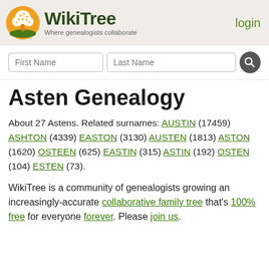[Figure (logo): WikiTree logo: circular orange/gold tree icon with white tree silhouette, beside bold dark green text 'WikiTree' and subtitle 'Where genealogists collaborate']
login
Asten Genealogy
About 27 Astens. Related surnames: AUSTIN (17459) ASHTON (4339) EASTON (3130) AUSTEN (1813) ASTON (1620) OSTEEN (625) EASTIN (315) ASTIN (192) OSTEN (104) ESTEN (73).
WikiTree is a community of genealogists growing an increasingly-accurate collaborative family tree that's 100% free for everyone forever. Please join us.